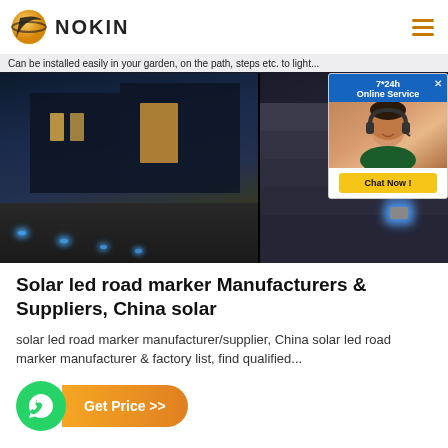NOKIN
Can be installed easily in your garden, on the path, steps etc. to light...
[Figure (photo): Composite photo showing solar LED road markers installed in a garden path at night (left) and on steps with blue LED glow (right), with a customer service chat widget overlay showing '7*24h Online Service' and 'Chat Now !' button]
Solar led road marker Manufacturers & Suppliers, China solar
solar led road marker manufacturer/supplier, China solar led road marker manufacturer & factory list, find qualified...
Get Price >>